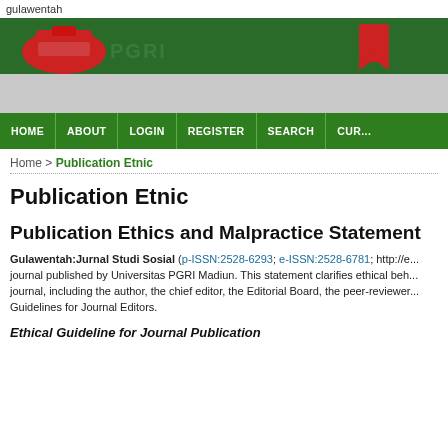gulawentah
[Figure (photo): University journal website banner with dark green background, red circular logo on left and red bookmark/flag logo on right, gray area below]
HOME | ABOUT | LOGIN | REGISTER | SEARCH | CUR...
Home > Publication Etnic
Publication Etnic
Publication Ethics and Malpractice Statement
Gulawentah:Jurnal Studi Sosial (p-ISSN:2528-6293; e-ISSN:2528-6781; http://e...) journal published by Universitas PGRI Madiun. This statement clarifies ethical beh... journal, including the author, the chief editor, the Editorial Board, the peer-reviewer... Guidelines for Journal Editors.
Ethical Guideline for Journal Publication